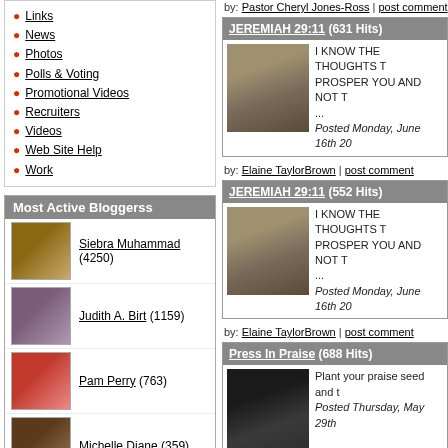Links
News
Photos
Polls & Voting
Promotional Videos
Recruiters
Videos
Web Site Help
Work
Most Active Bloggerss
Siebra Muhammad (4250)
Judith A. Birt (1159)
Pam Perry (763)
Michelle Diane (359)
Minister Celeste Kelley (311)
Elaine TaylorBrown (189)
Jackie Moore (157)
by: Pastor Cheryl Jones-Ross | post comment
JEREMIAH 29:11 (631 Hits)
I KNOW THE THOUGHTS T... PROSPER YOU AND NOT T... ... Posted Monday, June 16th 20...
by: Elaine TaylorBrown | post comment
JEREMIAH 29:11 (552 Hits)
I KNOW THE THOUGHTS T... PROSPER YOU AND NOT T... ... Posted Monday, June 16th 20...
by: Elaine TaylorBrown | post comment
Press In Praise (688 Hits)
Plant your praise seed and t... Posted Thursday, May 29th...
by: Pastor Cheryl Jones-Ross | post comment